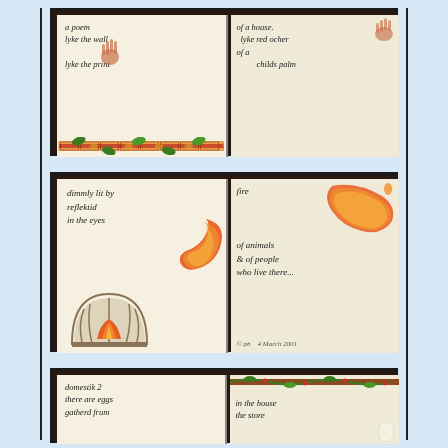[Figure (illustration): Illuminated manuscript book open to two pages. Left page: handwritten poem text 'a poem / lyke the wall / lyke the print' with a red ochre child's handprint. Right page: 'of a house. / lyke red ocher / of a / childs palm' with a red handprint. Decorative floral border strip at bottom with brick and leaf motifs.]
[Figure (illustration): Illuminated manuscript book open to two pages. Left page: 'dimmly lit by / reflektid / in the eyes' with decorative orange/red acanthus scroll and a stone fireplace arch with fire. Right page: 'fire / of animals / & of people / who live there...' with orange fire acanthus scroll decoration. Copyright notice: '© pb  4 March 2001']
[Figure (illustration): Partially visible illuminated manuscript book. Left page: 'domestik 2 / there are eggs / gatherd frum'. Right page: 'in the house / the store' with decorative vine/berry border and an egg illustration.]